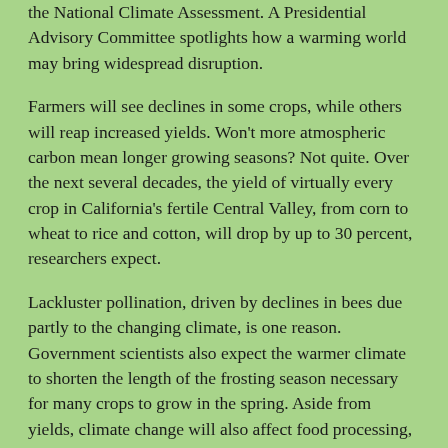the National Climate Assessment. A Presidential Advisory Committee spotlights how a warming world may bring widespread disruption.
Farmers will see declines in some crops, while others will reap increased yields. Won't more atmospheric carbon mean longer growing seasons? Not quite. Over the next several decades, the yield of virtually every crop in California's fertile Central Valley, from corn to wheat to rice and cotton, will drop by up to 30 percent, researchers expect.
Lackluster pollination, driven by declines in bees due partly to the changing climate, is one reason. Government scientists also expect the warmer climate to shorten the length of the frosting season necessary for many crops to grow in the spring. Aside from yields, climate change will also affect food processing, storage, and transportation—industries that require an increasing amount of expensive water and energy as global demand rises—leading to higher food prices.
More energy demand, higher prices, more climate change.
The worldwide trend is stunning. Since 1979, global demand for